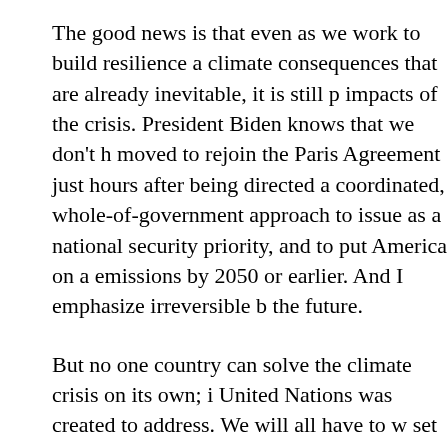The good news is that even as we work to build resilience a climate consequences that are already inevitable, it is still p impacts of the crisis. President Biden knows that we don't h moved to rejoin the Paris Agreement just hours after being directed a coordinated, whole-of-government approach to issue as a national security priority, and to put America on a emissions by 2050 or earlier. And I emphasize irreversible b the future.
But no one country can solve the climate crisis on its own; i United Nations was created to address. We will all have to w set bold and achievable targets and clear roadmaps for how have some outlying, thirty years from now target and prete will have to step up and raise ambition. And the fact is that world, their responsibility to the rest of the world to reduce reducing the use of coal on a global basis.